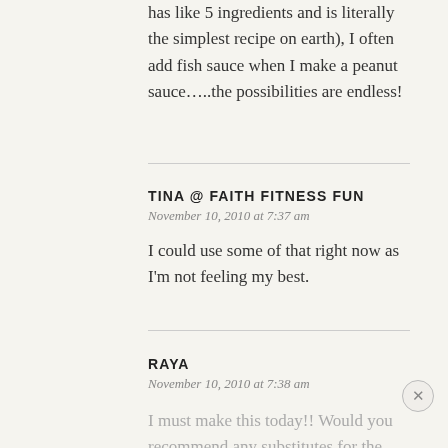has like 5 ingredients and is literally the simplest recipe on earth), I often add fish sauce when I make a peanut sauce…..the possibilities are endless!
TINA @ FAITH FITNESS FUN
November 10, 2010 at 7:37 am
I could use some of that right now as I'm not feeling my best.
RAYA
November 10, 2010 at 7:38 am
I must make this today!! Would you recommend any substitutes for the lime…